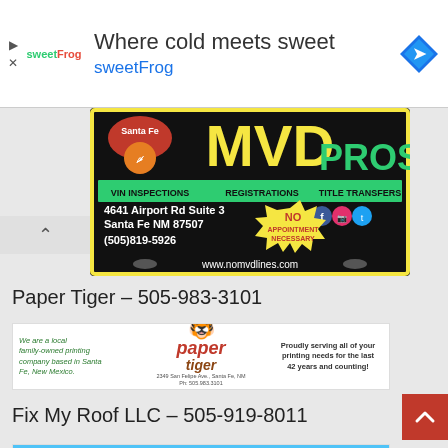[Figure (infographic): sweetFrog advertisement banner: logo on left, headline 'Where cold meets sweet' and 'sweetFrog' in blue, navigation arrow icon on right]
[Figure (infographic): MVD Pros advertisement: black background with yellow/green text, VIN Inspections, Registrations, Title Transfers, address 4641 Airport Rd Suite 3, Santa Fe NM 87507, (505)819-5926, www.nomvdlines.com, NO APPOINTMENT NECESSARY]
Paper Tiger – 505-983-3101
[Figure (infographic): Paper Tiger printing company ad: local family-owned printing company in Santa Fe NM, paper tiger logo, Proudly serving all of your printing needs for the last 42 years and counting! Smart Ideas. Innovative Solutions. Robert Rodriguez]
Fix My Roof LLC – 505-919-8011
[Figure (infographic): Fix My Roof LLC advertisement: Never Worry About Your Roof Again! Whether your roof is currently leaking or you'd like to restore your roof.]